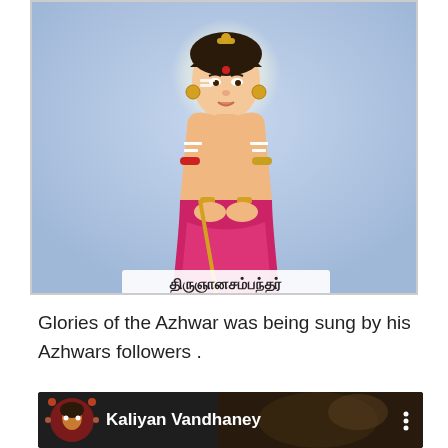[Figure (illustration): Religious illustration of Thirugnanasambandar (a Tamil Shaivite saint), shown seated with hands folded, wearing gold ornaments and a pink/magenta lower garment, with a halo behind his head. Blue background. Tamil text caption at bottom reads 'திருஞானசம்பந்தர்'.]
Glories of the Azhwar was being sung by his Azhwars followers .
[Figure (screenshot): Video thumbnail showing 'Kaliyan Vandhaney' with a deity idol decorated with flowers visible in background. Dark background with circular icon on left, title text in center, and three-dot menu on right.]